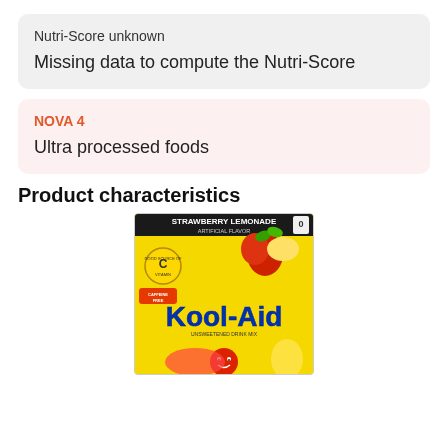Nutri-Score unknown
Missing data to compute the Nutri-Score
NOVA 4
Ultra processed foods
Product characteristics
[Figure (photo): Kool-Aid Strawberry Lemonade drink mix package with yellow background, Kool-Aid Man mascot, text: STRAWBERRY LEMONADE ARTIFICIAL FLAVOR, GOOD SOURCE OF VITAMIN C, CAFFEINE FREE]